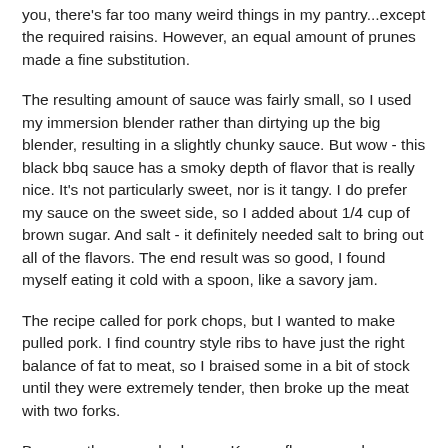you, there's far too many weird things in my pantry...except the required raisins. However, an equal amount of prunes made a fine substitution.
The resulting amount of sauce was fairly small, so I used my immersion blender rather than dirtying up the big blender, resulting in a slightly chunky sauce. But wow - this black bbq sauce has a smoky depth of flavor that is really nice. It's not particularly sweet, nor is it tangy. I do prefer my sauce on the sweet side, so I added about 1/4 cup of brown sugar. And salt - it definitely needed salt to bring out all of the flavors. The end result was so good, I found myself eating it cold with a spoon, like a savory jam.
The recipe called for pork chops, but I wanted to make pulled pork. I find country style ribs to have just the right balance of fat to meat, so I braised some in a bit of stock until they were extremely tender, then broke up the meat with two forks.
Because the sauce had some Korean flavors, and because I'm experimenting with recipes that involve glutinous rice flour for a recipe contest, I decided to serve the 'cue on a